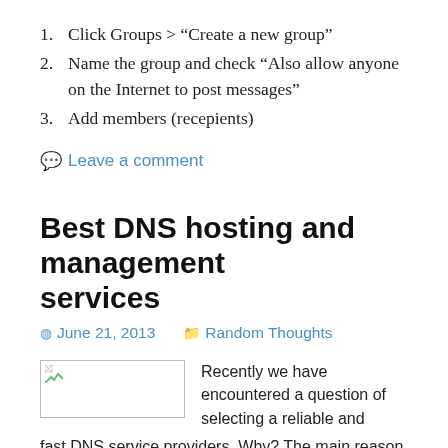1. Click Groups > “Create a new group”
2. Name the group and check “Also allow anyone on the Internet to post messages”
3. Add members (recepients)
💬 Leave a comment
Best DNS hosting and management services
June 21, 2013   Random Thoughts
[Figure (photo): Broken/placeholder image thumbnail, small green arrow icon in top-left corner, white background with border]
Recently we have encountered a question of selecting a reliable and fast DNS service providers. Why? The main reason was